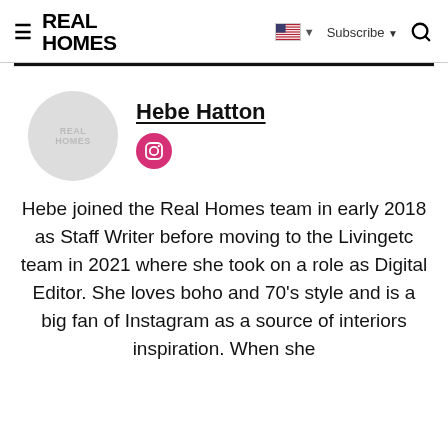REAL HOMES
Hebe Hatton
[Figure (logo): Instagram icon - pink circle with camera outline]
Hebe joined the Real Homes team in early 2018 as Staff Writer before moving to the Livingetc team in 2021 where she took on a role as Digital Editor. She loves boho and 70's style and is a big fan of Instagram as a source of interiors inspiration. When she